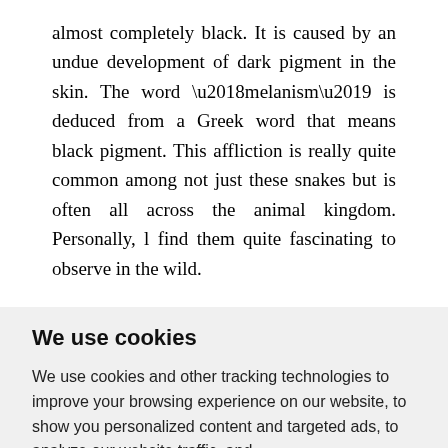almost completely black. It is caused by an undue development of dark pigment in the skin. The word ‘melanism’ is deduced from a Greek word that means black pigment. This affliction is really quite common among not just these snakes but is often all across the animal kingdom. Personally, l find them quite fascinating to observe in the wild.
We use cookies
We use cookies and other tracking technologies to improve your browsing experience on our website, to show you personalized content and targeted ads, to analyze our website traffic, and